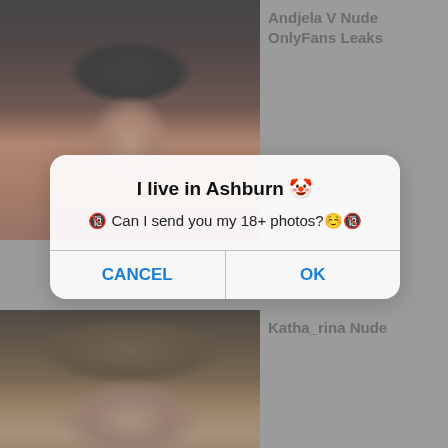[Figure (screenshot): Screenshot of a website showing two profile photo thumbnails with titles, overlaid by a browser/app dialog popup. Top image shows a dark-haired woman. Bottom image shows a person with bangs. A modal dialog box reads 'I live in Ashburn' with message 'Can I send you my 18+ photos?' and CANCEL / OK buttons.]
Andjela V Nude OnlyFans Leaks
I live in Ashburn 🤡
🔞 Can I send you my 18+ photos?☺️🔞
CANCEL
OK
Katha_rina Nude